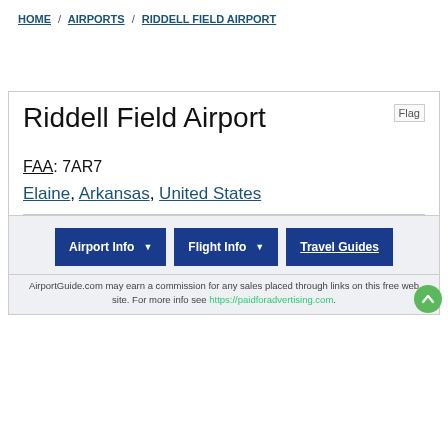HOME / AIRPORTS / RIDDELL FIELD AIRPORT
Riddell Field Airport
[Figure (illustration): Flag image placeholder]
FAA: 7AR7
Elaine, Arkansas, United States
Airport Info   Flight Info ▾   Travel Guides
AirportGuide.com may earn a commission for any sales placed through links on this free web site. For more info see https://paidforadvertising.com.